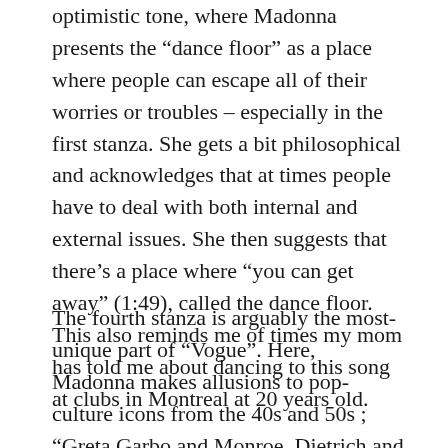optimistic tone, where Madonna presents the “dance floor” as a place where people can escape all of their worries or troubles – especially in the first stanza. She gets a bit philosophical and acknowledges that at times people have to deal with both internal and external issues. She then suggests that there’s a place where “you can get away” (1:49), called the dance floor. This also reminds me of times my mom has told me about dancing to this song at clubs in Montreal at 20 years old.
The fourth stanza is arguably the most-unique part of “Vogue”. Here, Madonna makes allusions to pop-culture icons from the 40s and 50s ; “Greta Garbo and Monroe, Dietrich and DiMaggio,